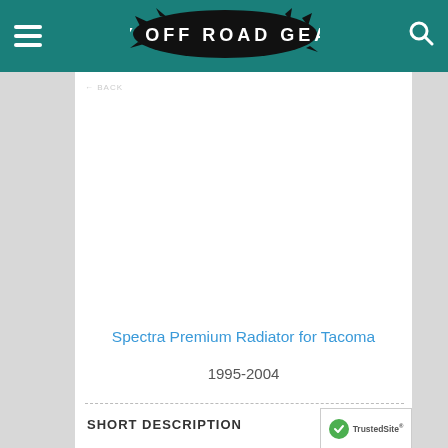MY OFF ROAD GEAR
Spectra Premium Radiator for Tacoma
1995-2004
SHORT DESCRIPTION